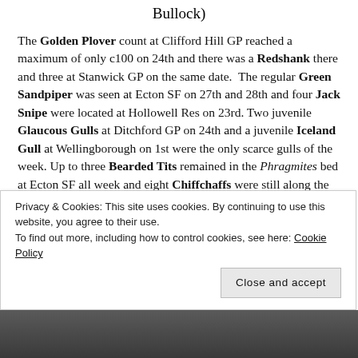Bullock)
The Golden Plover count at Clifford Hill GP reached a maximum of only c100 on 24th and there was a Redshank there and three at Stanwick GP on the same date. The regular Green Sandpiper was seen at Ecton SF on 27th and 28th and four Jack Snipe were located at Hollowell Res on 23rd. Two juvenile Glaucous Gulls at Ditchford GP on 24th and a juvenile Iceland Gull at Wellingborough on 1st were the only scarce gulls of the week. Up to three Bearded Tits remained in the Phragmites bed at Ecton SF all week and eight Chiffchaffs were still along the outflow stream there on the same date without at least one Siberian Chiffchaff still
Privacy & Cookies: This site uses cookies. By continuing to use this website, you agree to their use.
To find out more, including how to control cookies, see here: Cookie Policy
Close and accept